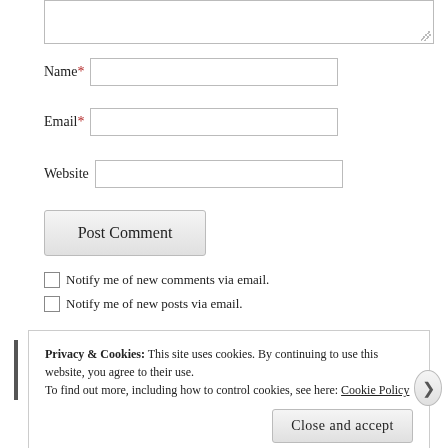[Figure (screenshot): Textarea input box at top of page (partially visible)]
Name* [input field]
Email* [input field]
Website [input field]
Post Comment
Notify me of new comments via email.
Notify me of new posts via email.
Privacy & Cookies: This site uses cookies. By continuing to use this website, you agree to their use. To find out more, including how to control cookies, see here: Cookie Policy
Close and accept